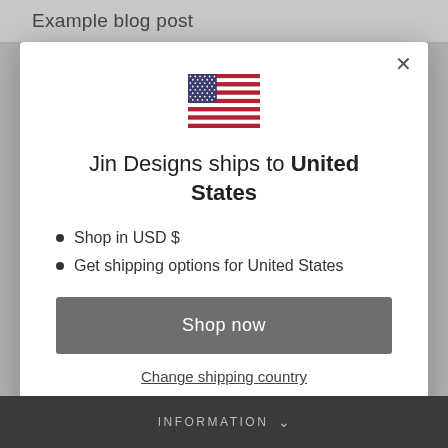Example blog post
[Figure (illustration): US flag emoji/icon centered in modal]
Jin Designs ships to United States
Shop in USD $
Get shipping options for United States
Shop now
Change shipping country
INFORMATION